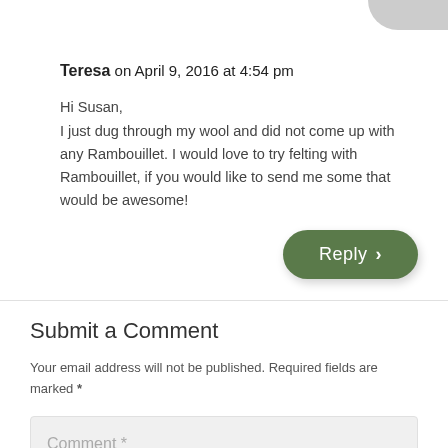Teresa on April 9, 2016 at 4:54 pm
Hi Susan,
I just dug through my wool and did not come up with any Rambouillet. I would love to try felting with Rambouillet, if you would like to send me some that would be awesome!
[Figure (other): Green rounded Reply button with chevron arrow]
Submit a Comment
Your email address will not be published. Required fields are marked *
Comment *